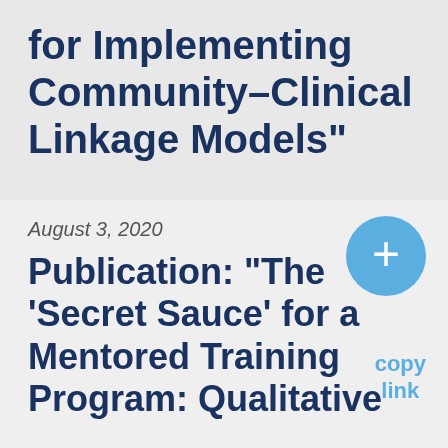for Implementing Community–Clinical Linkage Models"
August 3, 2020
Publication: "The 'Secret Sauce' for a Mentored Training Program: Qualitative